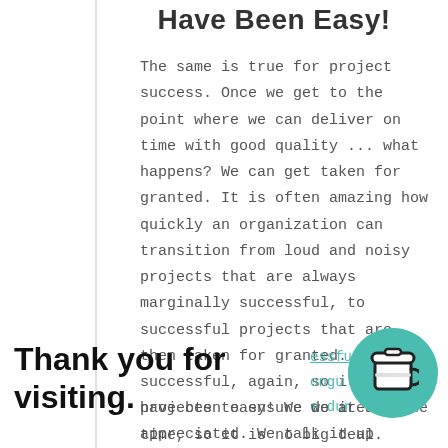Have Been Easy!
The same is true for project success. Once we get to the point where we can deliver on time with good quality ... what happens? We can get taken for granted. It is often amazing how quickly an organization can transition from loud and noisy projects that are always marginally successful, to successful projects that are then taken for granted. We were successful, again, so it must have been easy! We do it all the time, so it is no big deal.
Thank you for visiting.
projects to ensure we are appreciated. We talk it up